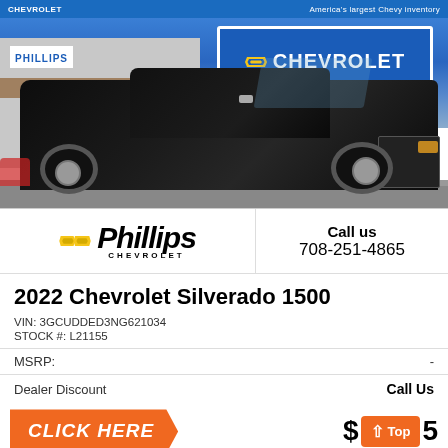CHEVROLET — America's largest Chevy inventory
[Figure (photo): Black 2022 Chevrolet Silverado 1500 pickup truck parked in front of Phillips Chevrolet dealership with blue Chevrolet sign in background]
Phillips Chevrolet — Call us 708-251-4865
2022 Chevrolet Silverado 1500
VIN: 3GCUDDED3NG621034
STOCK #: L21155
MSRP: -
Dealer Discount: Call Us
CLICK HERE — $ Top 5